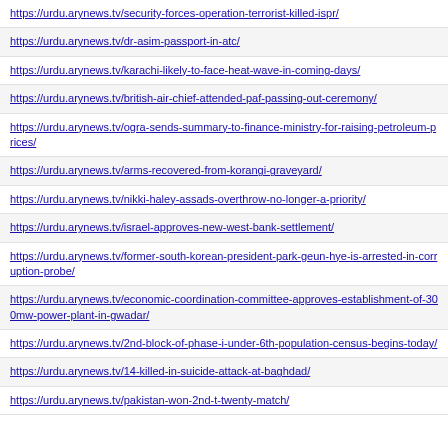https://urdu.arynews.tv/security-forces-operation-terrorist-killed-ispr/
https://urdu.arynews.tv/dr-asim-passport-in-atc/
https://urdu.arynews.tv/karachi-likely-to-face-heat-wave-in-coming-days/
https://urdu.arynews.tv/british-air-chief-attended-paf-passing-out-ceremony/
https://urdu.arynews.tv/ogra-sends-summary-to-finance-ministry-for-raising-petroleum-prices/
https://urdu.arynews.tv/arms-recovered-from-korangi-graveyard/
https://urdu.arynews.tv/nikki-haley-assads-overthrow-no-longer-a-priority/
https://urdu.arynews.tv/israel-approves-new-west-bank-settlement/
https://urdu.arynews.tv/former-south-korean-president-park-geun-hye-is-arrested-in-corruption-probe/
https://urdu.arynews.tv/economic-coordination-committee-approves-establishment-of-300mw-power-plant-in-gwadar/
https://urdu.arynews.tv/2nd-block-of-phase-i-under-6th-population-census-begins-today/
https://urdu.arynews.tv/14-killed-in-suicide-attack-at-baghdad/
https://urdu.arynews.tv/pakistan-won-2nd-t-twenty-match/